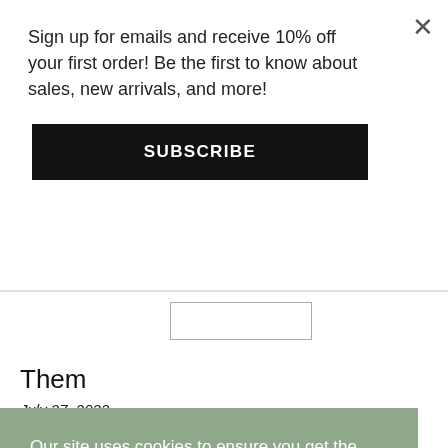Sign up for emails and receive 10% off your first order! Be the first to know about sales, new arrivals, and more!
SUBSCRIBE
Them
July 27, 2022
Our site uses cookies to ensure you get the best experience.  Learn More
Got it!